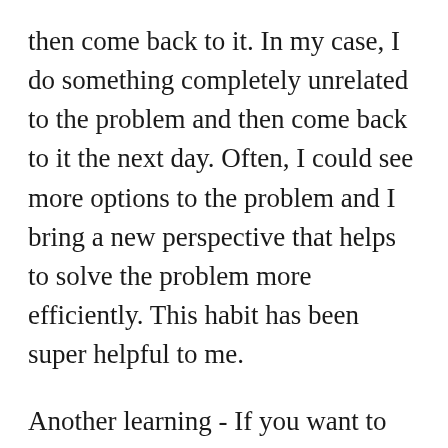then come back to it. In my case, I do something completely unrelated to the problem and then come back to it the next day. Often, I could see more options to the problem and I bring a new perspective that helps to solve the problem more efficiently. This habit has been super helpful to me.
Another learning - If you want to build something, try to find out first if it really solves a problem. Do you have a one-liner problem statement? Do you believe in the solution that you're offering? If you don't